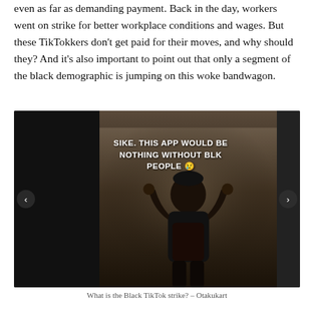even as far as demanding payment. Back in the day, workers went on strike for better workplace conditions and wages. But these TikTokkers don't get paid for their moves, and why should they? And it's also important to point out that only a segment of the black demographic is jumping on this woke bandwagon.
[Figure (photo): Screenshot of a TikTok video showing a person making hand gestures with overlay text reading 'SIKE. THIS APP WOULD BE NOTHING WITHOUT BLK PEOPLE 😢'. Navigation arrows on left and right sides of the image.]
What is the Black TikTok strike? – Otakukart